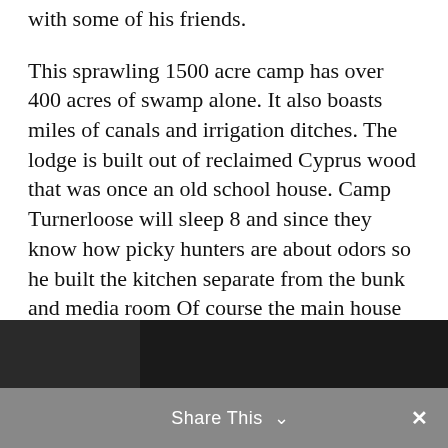with some of his friends.
This sprawling 1500 acre camp has over 400 acres of swamp alone. It also boasts miles of canals and irrigation ditches. The lodge is built out of reclaimed Cyprus wood that was once an old school house. Camp Turnerloose will sleep 8 and since they know how picky hunters are about odors so he built the kitchen separate from the bunk and media room Of course the main house has a sink, refrigerator, microwave, coffee pot and all the amenities of home. But the main cooking is done in the kitchen and on the enormous grill he had hand built.
[Figure (photo): Partial photo visible at bottom of page, appears to show people outdoors]
Share This ∨  ×